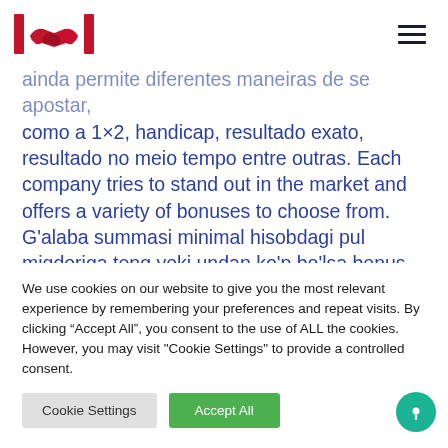[Figure (logo): Red handshake logo with red vertical bars on each side]
ainda permite diferentes maneiras de se apostar, como a 1×2, handicap, resultado exato, resultado no meio tempo entre outras. Each company tries to stand out in the market and offers a variety of bonuses to choose from. G'alaba summasi minimal hisobdagi pul miqdoriga teng yoki undan ko'p bo'lsa bonus hisobidan asosiy hisob raqamiga o'tkaziladi. При этом последние представлены заметно
We use cookies on our website to give you the most relevant experience by remembering your preferences and repeat visits. By clicking "Accept All", you consent to the use of ALL the cookies. However, you may visit "Cookie Settings" to provide a controlled consent.